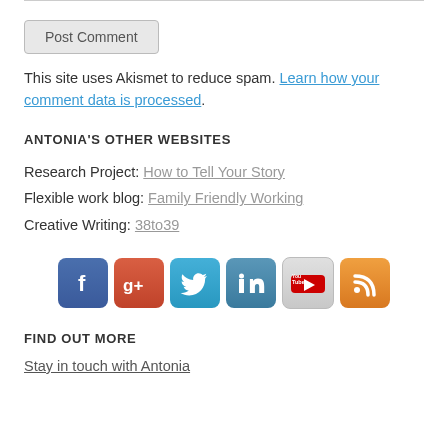Post Comment
This site uses Akismet to reduce spam. Learn how your comment data is processed.
ANTONIA'S OTHER WEBSITES
Research Project: How to Tell Your Story
Flexible work blog: Family Friendly Working
Creative Writing: 38to39
[Figure (infographic): Row of six social media icons: Facebook (blue), Google+ (red), Twitter (light blue), LinkedIn (steel blue), YouTube (gray/white), RSS (orange)]
FIND OUT MORE
Stay in touch with Antonia